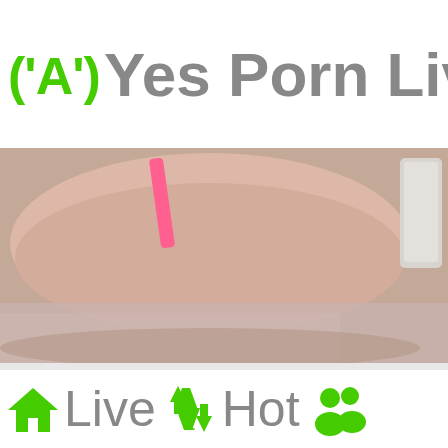('A') Yes Porn Live
[Figure (photo): Cropped photo of a person on a bed with pink strap visible, pillow/bedding in background, bottle object on right side]
💬 Candychio
[Figure (photo): Live webcam feed with blue wallpaper background, person visible at bottom, XLoveCam watermark overlay with upload/link icon circle]
🏠 Live ↑A↓z Hot 👥